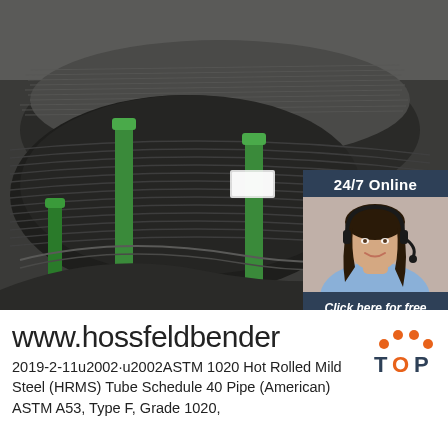[Figure (photo): Photo of coiled wire rods/steel wire bundles bound with green straps, stored in a warehouse. Overlaid with a dark navy panel showing '24/7 Online' text, a customer service woman with headset, 'Click here for free chat!' text, and an orange QUOTATION button.]
www.hossfeldbender
2019-2-11u2002·u2002ASTM 1020 Hot Rolled Mild Steel (HRMS) Tube Schedule 40 Pipe (American) ASTM A53, Type F, Grade 1020,
[Figure (logo): TOP logo with orange dots arranged in an arch above the letters TOP in orange/dark color]